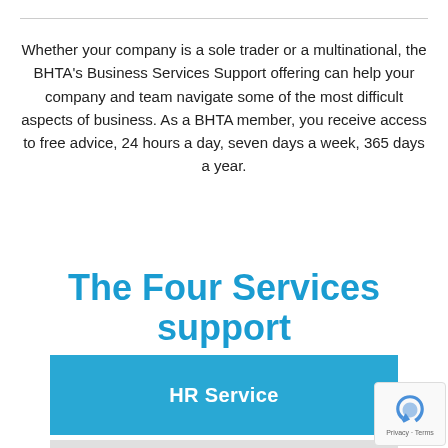Whether your company is a sole trader or a multinational, the BHTA's Business Services Support offering can help your company and team navigate some of the most difficult aspects of business. As a BHTA member, you receive access to free advice, 24 hours a day, seven days a week, 365 days a year.
The Four Services support
HR Service